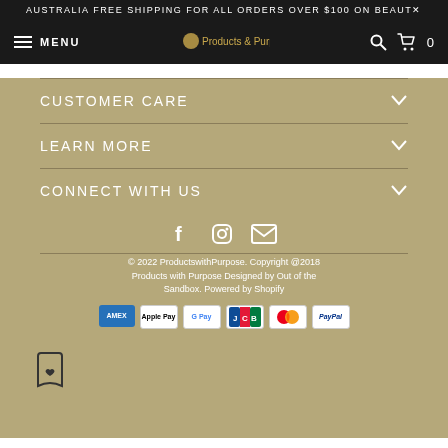AUSTRALIA FREE SHIPPING FOR ALL ORDERS OVER $100 ON BEAUTY
MENU
CUSTOMER CARE
LEARN MORE
CONNECT WITH US
[Figure (other): Social media icons: Facebook, Instagram, Email]
© 2022 ProductswithPurpose. Copyright @2018 Products with Purpose Designed by Out of the Sandbox. Powered by Shopify
[Figure (other): Payment method icons: Amex, Apple Pay, Google Pay, JCB, Mastercard, PayPal, Shop Pay, Visa]